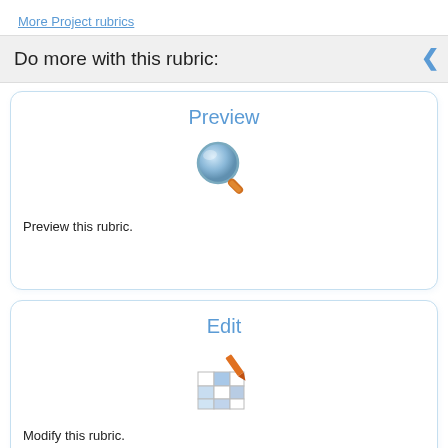More Project rubrics
Do more with this rubric:
Preview
[Figure (illustration): Magnifying glass icon with blue lens and orange handle]
Preview this rubric.
Edit
[Figure (illustration): Grid/table icon with blue and white squares and an orange pencil/paintbrush]
Modify this rubric.